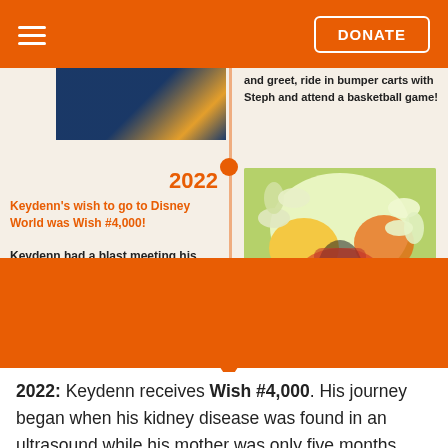DONATE
and greet, ride in bumper carts with Steph and attend a basketball game!
2022
Keydenn's wish to go to Disney World was Wish #4,000!
Keydenn had a blast meeting his favorite superheroes and swimming with the pool!
[Figure (photo): Photo of child at colorful Disney World event with flowers and decorations]
2022: Keydenn receives Wish #4,000. His journey began when his kidney disease was found in an ultrasound while his mother was only five months